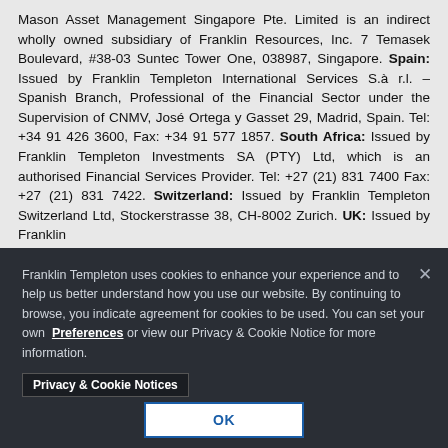Mason Asset Management Singapore Pte. Limited is an indirect wholly owned subsidiary of Franklin Resources, Inc. 7 Temasek Boulevard, #38-03 Suntec Tower One, 038987, Singapore. Spain: Issued by Franklin Templeton International Services S.à r.l. – Spanish Branch, Professional of the Financial Sector under the Supervision of CNMV, José Ortega y Gasset 29, Madrid, Spain. Tel: +34 91 426 3600, Fax: +34 91 577 1857. South Africa: Issued by Franklin Templeton Investments SA (PTY) Ltd, which is an authorised Financial Services Provider. Tel: +27 (21) 831 7400 Fax: +27 (21) 831 7422. Switzerland: Issued by Franklin Templeton Switzerland Ltd, Stockerstrasse 38, CH-8002 Zurich. UK: Issued by Franklin
Franklin Templeton uses cookies to enhance your experience and to help us better understand how you use our website. By continuing to browse, you indicate agreement for cookies to be used. You can set your own Preferences or view our Privacy & Cookie Notice for more information. Privacy & Cookie Notices
OK